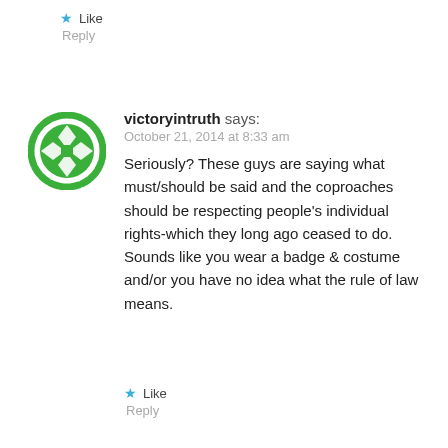Like
Reply
[Figure (illustration): Green decorative avatar icon with diamond/cross pattern for user victoryintruth]
victoryintruth says:
October 21, 2014 at 8:33 am
Seriously? These guys are saying what must/should be said and the coproaches should be respecting people's individual rights-which they long ago ceased to do. Sounds like you wear a badge & costume and/or you have no idea what the rule of law means.
Like
Reply